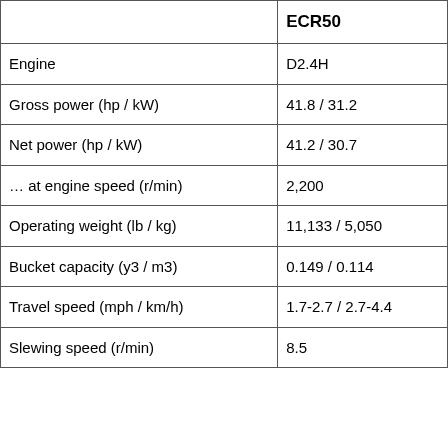|  | ECR50 |
| --- | --- |
| Engine | D2.4H |
| Gross power (hp / kW) | 41.8 / 31.2 |
| Net power (hp / kW) | 41.2 / 30.7 |
| … at engine speed (r/min) | 2,200 |
| Operating weight (lb / kg) | 11,133 / 5,050 |
| Bucket capacity (y3 / m3) | 0.149 / 0.114 |
| Travel speed (mph / km/h) | 1.7-2.7 / 2.7-4.4 |
| Slewing speed (r/min) | 8.5 |